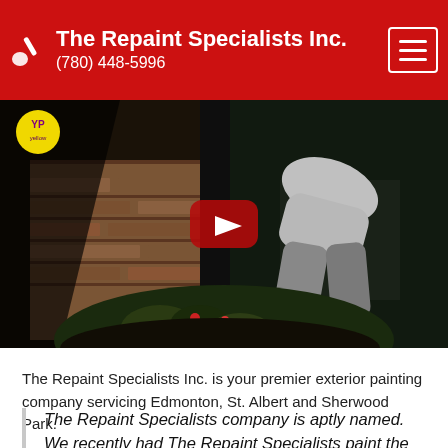The Repaint Specialists Inc. (780) 448-5996
[Figure (screenshot): YouTube video thumbnail showing a person bending over to work near a brick wall with garden plants, with a red YouTube play button overlay in the center]
The Repaint Specialists Inc. is your premier exterior painting company servicing Edmonton, St. Albert and Sherwood Park.
The Repaint Specialists company is aptly named. We recently had The Repaint Specialists paint the exterior of our ship-lap cedar house. Jason, the master painter, did an